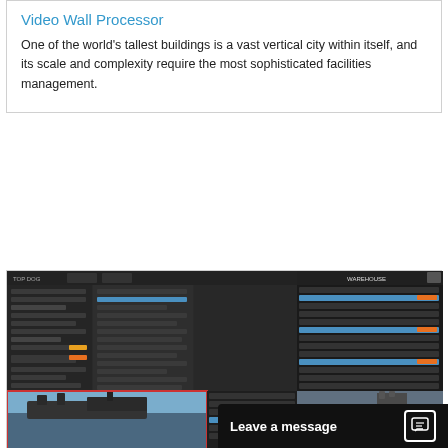Video Wall Processor
One of the world's tallest buildings is a vast vertical city within itself, and its scale and complexity require the most sophisticated facilities management.
[Figure (screenshot): Composite screenshot showing military command/control software interface with multiple panels displaying tactical data, ship tracking, and video feeds. Also shows a naval vessel photo and aerial/maritime surveillance footage.]
New QuadView 4Kp60 Multi-Image Processor with Built-in KVM Control of Multiple Sources
Introducing RGB Spe...